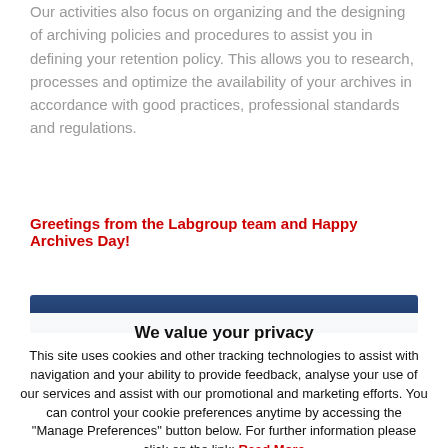Our activities also focus on organizing and the designing of archiving policies and procedures to assist you in defining your retention policy. This allows you to research, processes and optimize the availability of your archives in accordance with good practices, professional standards and regulations.
Greetings from the Labgroup team and Happy Archives Day!
[Figure (other): Dark blue horizontal banner bar]
We value your privacy
This site uses cookies and other tracking technologies to assist with navigation and your ability to provide feedback, analyse your use of our services and assist with our promotional and marketing efforts. You can control your cookie preferences anytime by accessing the "Manage Preferences" button below. For further information please click on the link: Read More
Accept All | Reject | Manage Preferences